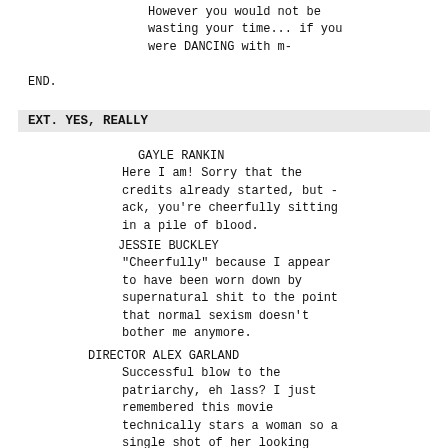However you would not be
wasting your time... if you
were DANCING with m-
END.
EXT. YES, REALLY
GAYLE RANKIN
Here I am! Sorry that the credits already started, but - ack, you're cheerfully sitting in a pile of blood.
JESSIE BUCKLEY
"Cheerfully" because I appear to have been worn down by supernatural shit to the point that normal sexism doesn't bother me anymore.
DIRECTOR ALEX GARLAND
Successful blow to the patriarchy, eh lass? I just remembered this movie technically stars a woman so a single shot of her looking alive and happy definitely wraps her up, huh? You're all over your trauma, right Jessie?